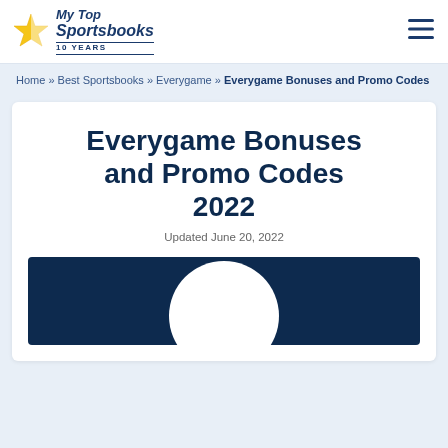My Top Sportsbooks — 10 YEARS
Home » Best Sportsbooks » Everygame » Everygame Bonuses and Promo Codes
Everygame Bonuses and Promo Codes 2022
Updated June 20, 2022
[Figure (illustration): Dark navy hero image with a white circular shape emerging from the bottom center]